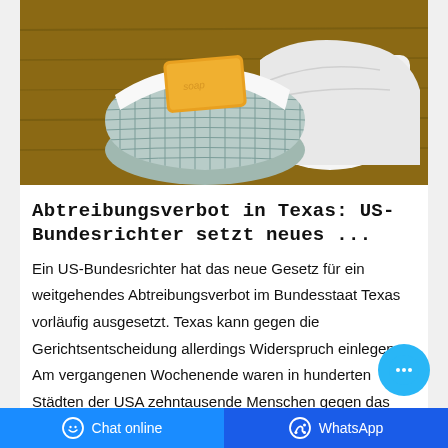[Figure (photo): Photo of a yellow bar of soap in a light blue woven basket with white towels on a wooden surface]
Abtreibungsverbot in Texas: US-Bundesrichter setzt neues ...
Ein US-Bundesrichter hat das neue Gesetz für ein weitgehendes Abtreibungsverbot im Bundesstaat Texas vorläufig ausgesetzt. Texas kann gegen die Gerichtsentscheidung allerdings Widerspruch einlegen. Am vergangenen Wochenende waren in hunderten Städten der USA zehntausende Menschen gegen das Abtreibungsverbot auf die Straße gegangen.
Chat online | WhatsApp